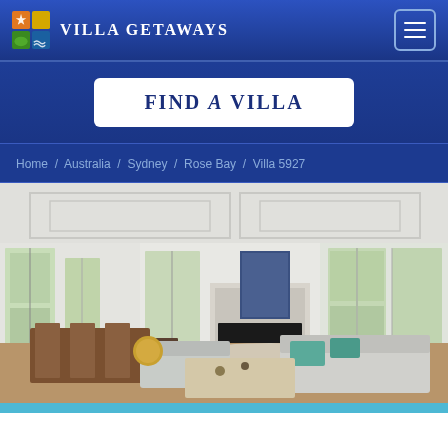Villa Getaways
Find a Villa
Home / Australia / Sydney / Rose Bay / Villa 5927
[Figure (photo): Interior photo of a bright, spacious living room with white walls, coffered ceiling, large windows, fireplace with artwork above, light grey sofas, coffee table, and dining area in the background.]